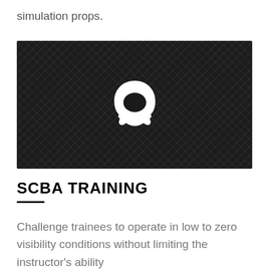simulation props.
[Figure (illustration): Dark diamond-plate metal background with a white SCBA (Self-Contained Breathing Apparatus) mask icon centered in the image.]
SCBA TRAINING
Challenge trainees to operate in low to zero visibility conditions without limiting the instructor's ability